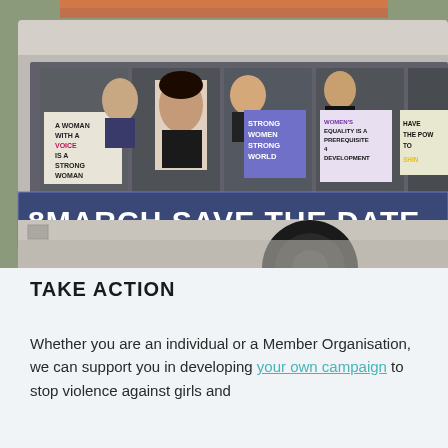[Figure (photo): Photograph of young women leaning out of a bus, holding protest signs for International Women's Day. Signs read: 'A WOMAN WITH A VOICE IS A STRONG WOMAN', 'STRONG WOMEN STRONG WORLD', 'WOMEN'S EQUALITY IS A PREREQUISITE 4 DEVELOPMENT', 'HAVE THE POW TO'. A large banner across the side of the bus reads '8MARCH SAVE THE DATE'.]
TAKE ACTION
Whether you are an individual or a Member Organisation, we can support you in developing your own campaign to stop violence against girls and